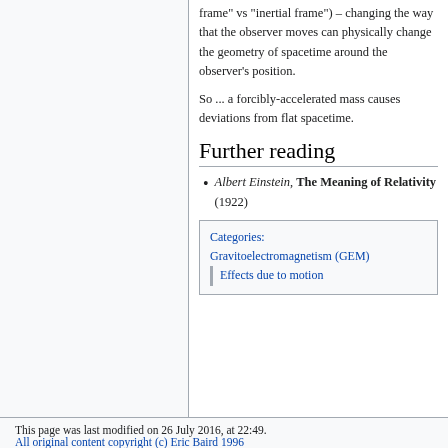frame" vs "inertial frame") – changing the way that the observer moves can physically change the geometry of spacetime around the observer's position.
So ... a forcibly-accelerated mass causes deviations from flat spacetime.
Further reading
Albert Einstein, The Meaning of Relativity (1922)
Categories:
Gravitoelectromagnetism (GEM)
Effects due to motion
This page was last modified on 26 July 2016, at 22:49.
All original content copyright (c) Eric Baird 1996